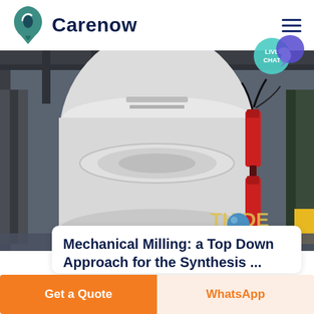Carenow
[Figure (photo): Industrial milling machine in a factory setting. Large white cylindrical machinery with red hydraulic components and cables visible. Metal structural framework in background.]
Mechanical Milling: a Top Down Approach for the Synthesis ...
Get a Quote
WhatsApp